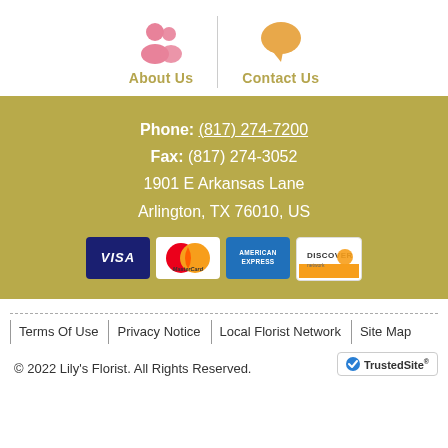[Figure (infographic): Navigation icons: pink people icon for About Us and orange speech bubble icon for Contact Us, separated by a vertical line]
Phone: (817) 274-7200
Fax: (817) 274-3052
1901 E Arkansas Lane
Arlington, TX 76010, US
[Figure (infographic): Payment card logos: Visa, MasterCard, American Express, Discover]
Terms Of Use | Privacy Notice | Local Florist Network | Site Map
© 2022 Lily's Florist. All Rights Reserved.
[Figure (logo): TrustedSite badge with checkmark]